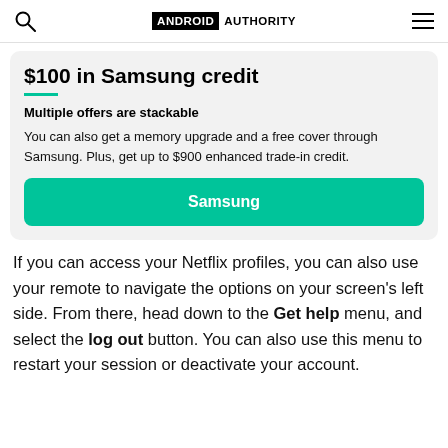ANDROID AUTHORITY
$100 in Samsung credit
Multiple offers are stackable
You can also get a memory upgrade and a free cover through Samsung. Plus, get up to $900 enhanced trade-in credit.
[Figure (other): Samsung button - teal/green call-to-action button labeled Samsung]
If you can access your Netflix profiles, you can also use your remote to navigate the options on your screen's left side. From there, head down to the Get help menu, and select the log out button. You can also use this menu to restart your session or deactivate your account.